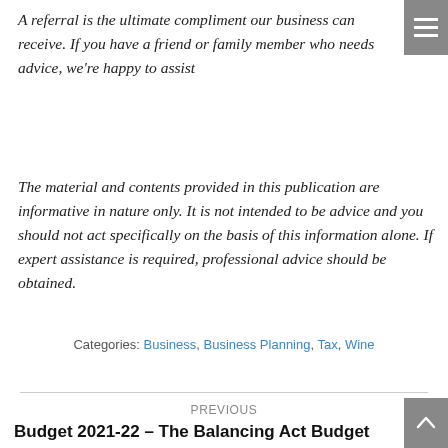A referral is the ultimate compliment our business can receive. If you have a friend or family member who needs advice, we're happy to assist
The material and contents provided in this publication are informative in nature only. It is not intended to be advice and you should not act specifically on the basis of this information alone. If expert assistance is required, professional advice should be obtained.
Categories: Business, Business Planning, Tax, Wine
PREVIOUS
Budget 2021-22 – The Balancing Act Budget